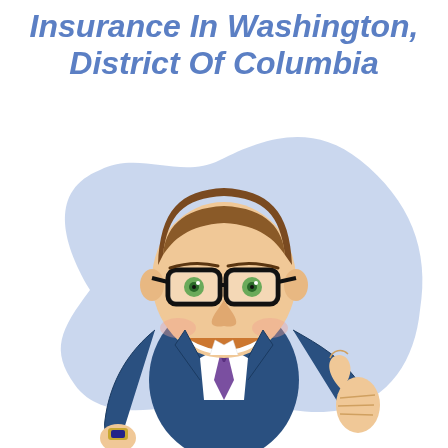Insurance In Washington, District Of Columbia
[Figure (illustration): Cartoon caricature of a smiling businessman in a navy blue suit with a purple tie, wearing black-rimmed glasses, giving a thumbs up. He stands in front of a light blue blob/cloud shape background. The character has an oversized head characteristic of caricature style.]